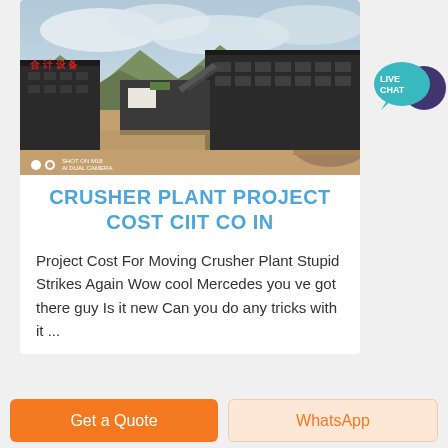[Figure (photo): Aerial/elevated photo of a crusher plant facility with dark industrial buildings, construction area, mountains and cloudy sky in background]
CRUSHER PLANT PROJECT COST CIIT CO IN
Project Cost For Moving Crusher Plant Stupid Strikes Again Wow cool Mercedes you ve got there guy Is it new Can you do any tricks with it ...
Get a Quote | WhatsApp